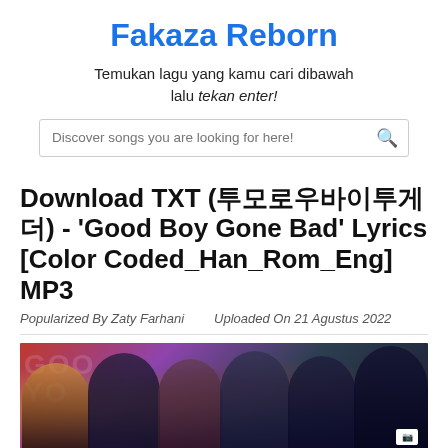Fakaza Reborn
Temukan lagu yang kamu cari dibawah lalu tekan enter!
Download TXT (투모로우바이투게더) - 'Good Boy Gone Bad' Lyrics [Color Coded_Han_Rom_Eng] MP3
Popularized By Zaty Farhani    Uploaded On 21 Agustus 2022
[Figure (photo): Group photo of TXT (Tomorrow By Together) K-pop band members with dark moody background featuring warm and cool tones]